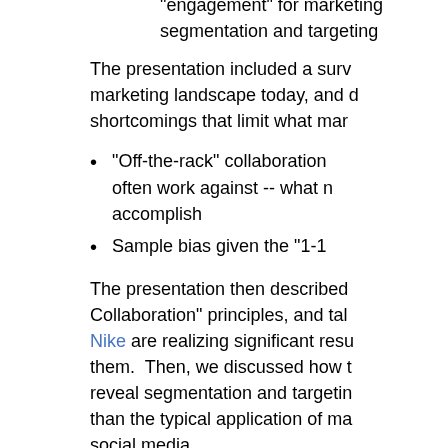"engagement" for marketing segmentation and targeting
The presentation included a survey of the marketing landscape today, and discussed the shortcomings that limit what marketers
"Off-the-rack" collaboration tools often work against -- what marketers need to accomplish
Sample bias given the "1-10..."
The presentation then described "Smarter Collaboration" principles, and talked about how Nike are realizing significant results using them. Then, we discussed how to use data to reveal segmentation and targeting information, rather than the typical application of marketing data in social media.
Finally, the talk offered some exist...